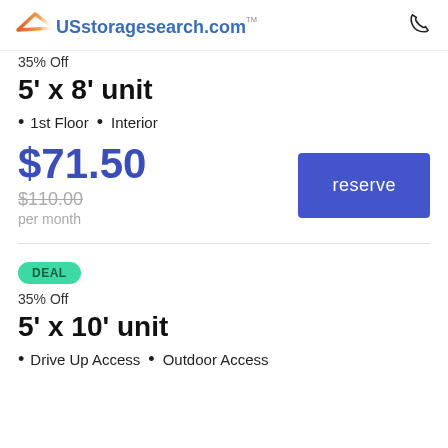[Figure (logo): USstoragesearch.com logo with orange roof icon]
35% Off
5' x 8' unit
1st Floor • Interior
$71.50
$110.00 per month
reserve
DEAL
35% Off
5' x 10' unit
Drive Up Access • Outdoor Access